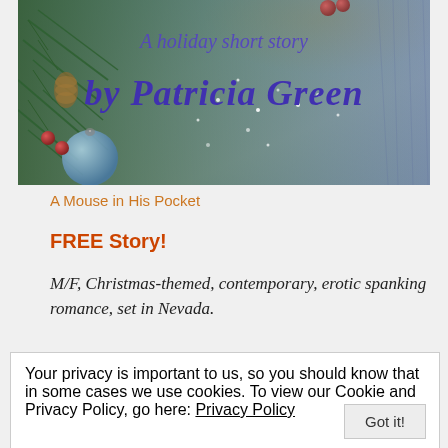[Figure (illustration): Book cover image with blue/teal winter background, pine branches, ornaments, berries, and denim texture on right. Text reads 'A holiday short story by Patricia Green' in purple italic serif font.]
A Mouse in His Pocket
FREE Story!
M/F, Christmas-themed, contemporary, erotic spanking romance, set in Nevada.
Your privacy is important to us, so you should know that in some cases we use cookies. To view our Cookie and Privacy Policy, go here: Privacy Policy
[Figure (photo): Bottom strip showing fire/flames in orange and yellow]